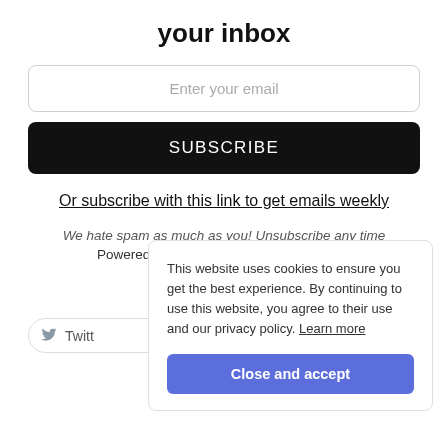your inbox
Enter your email
SUBSCRIBE
Or subscribe with this link to get emails weekly
We hate spam as much as you! Unsubscribe any time
Powered by follow.it (Privacy), our Privacy.
[Figure (screenshot): Twitter follow button partially visible]
This website uses cookies to ensure you get the best experience. By continuing to use this website, you agree to their use and our privacy policy. Learn more
Close and accept